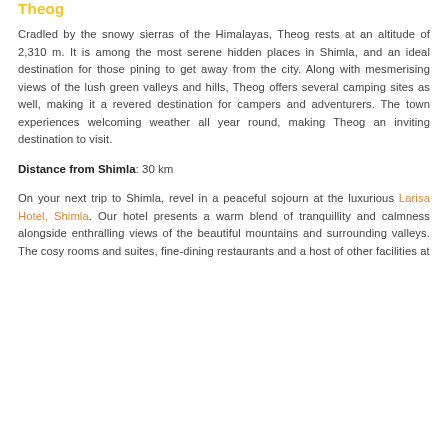Theog
Cradled by the snowy sierras of the Himalayas, Theog rests at an altitude of 2,310 m. It is among the most serene hidden places in Shimla, and an ideal destination for those pining to get away from the city. Along with mesmerising views of the lush green valleys and hills, Theog offers several camping sites as well, making it a revered destination for campers and adventurers. The town experiences welcoming weather all year round, making Theog an inviting destination to visit.
Distance from Shimla: 30 km
On your next trip to Shimla, revel in a peaceful sojourn at the luxurious Larisa Hotel, Shimla. Our hotel presents a warm blend of tranquillity and calmness alongside enthralling views of the beautiful mountains and surrounding valleys. The cosy rooms and suites, fine-dining restaurants and a host of other facilities at